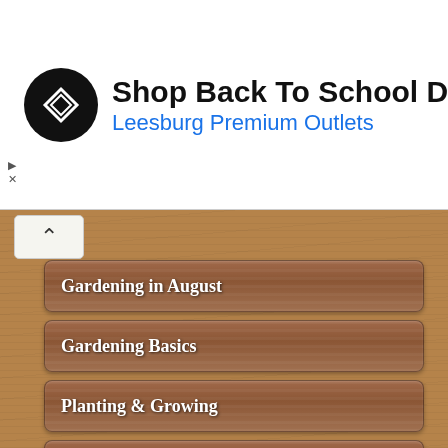[Figure (other): Advertisement banner: black circle logo with arrow icon, text 'Shop Back To School Deals' and 'Leesburg Premium Outlets' in blue, blue diamond navigation arrow on right]
Gardening in August
Gardening Basics
Planting & Growing
Plants by Group
Garden Specific Plants
House Plants
Plant Buying Guide
Plant Hardiness Zones